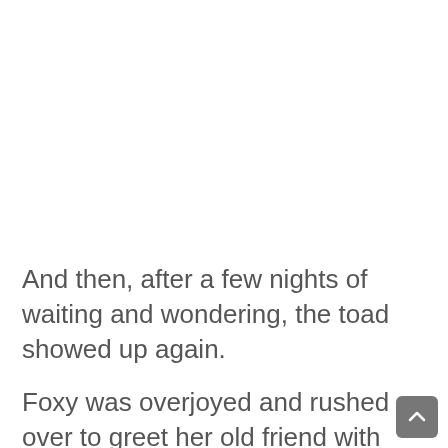And then, after a few nights of waiting and wondering, the toad showed up again.
Foxy was overjoyed and rushed over to greet her old friend with happiness and affection. The two friends assumed their usual positions and hung out on the lawn together, quietly enjoying each other's company.